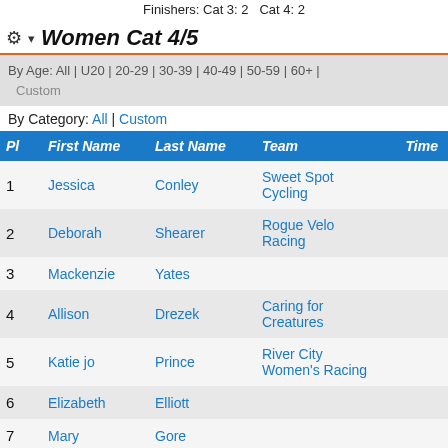Finishers: Cat 3: 2   Cat 4: 2
Women Cat 4/5
By Age: All | U20 | 20-29 | 30-39 | 40-49 | 50-59 | 60+ | Custom
By Category: All | Custom
| Pl | First Name | Last Name | Team | Time |
| --- | --- | --- | --- | --- |
| 1 | Jessica | Conley | Sweet Spot Cycling |  |
| 2 | Deborah | Shearer | Rogue Velo Racing |  |
| 3 | Mackenzie | Yates |  |  |
| 4 | Allison | Drezek | Caring for Creatures |  |
| 5 | Katie jo | Prince | River City Women's Racing |  |
| 6 | Elizabeth | Elliott |  |  |
| 7 | Mary | Gore |  |  |
Finishers: Cat 4: 3   Cat 5: 3   Cat ?: 1